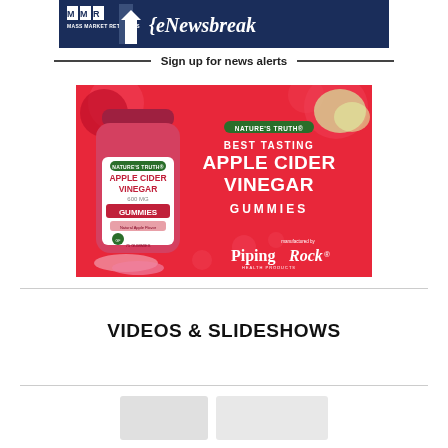[Figure (logo): Mass Market Retailers eNewsbreak banner logo with dark navy background, MMR block letters on left and '{eNewsbreak' text in italic white on right]
— Sign up for news alerts —
[Figure (photo): Nature's Truth Apple Cider Vinegar Gummies advertisement on red background showing product bottle on left and text 'BEST TASTING APPLE CIDER VINEGAR GUMMIES' on right with PipingRock Health Products branding at bottom right]
VIDEOS & SLIDESHOWS